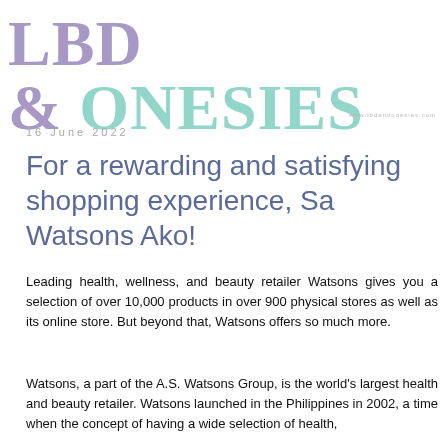[Figure (logo): LBD & ONESIES blog logo in large distressed font, 'LBD &' in muted purple and 'ONESIES' in mint green, with a small website URL in the bottom right]
16 June 2022
For a rewarding and satisfying shopping experience, Sa Watsons Ako!
Leading health, wellness, and beauty retailer Watsons gives you a selection of over 10,000 products in over 900 physical stores as well as its online store. But beyond that, Watsons offers so much more.
Watsons, a part of the A.S. Watsons Group, is the world's largest health and beauty retailer. Watsons launched in the Philippines in 2002, a time when the concept of having a wide selection of health,